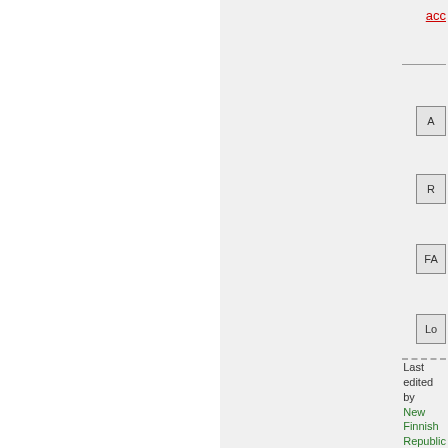acc
[Figure (other): Small icon thumbnail labeled 'A' (article or page icon)]
[Figure (other): Small icon thumbnail labeled 'R']
[Figure (other): Small icon thumbnail labeled 'FA']
[Figure (other): Small icon thumbnail labeled 'Lo']
Last edited by New Finnish Republic on Mon